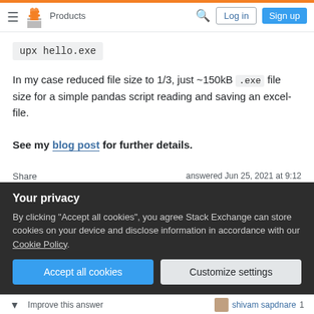≡  [Stack Overflow logo]  Products   🔍   Log in   Sign up
upx hello.exe
In my case reduced file size to 1/3, just ~150kB .exe file size for a simple pandas script reading and saving an excel-file.
See my blog post for further details.
Share   Improve this answer   Follow
answered Jun 25, 2021 at 9:12
do-me
841 ●7 ●14
Your privacy
By clicking "Accept all cookies", you agree Stack Exchange can store cookies on your device and disclose information in accordance with our Cookie Policy.
Accept all cookies   Customize settings